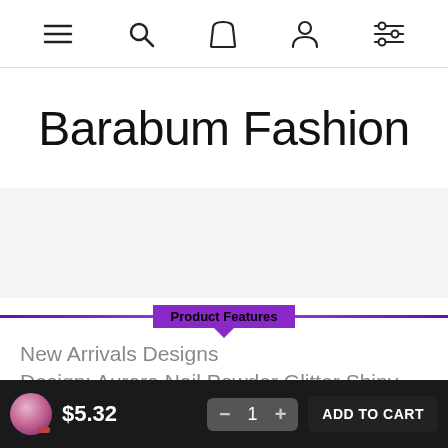Navigation bar with menu, search, cart, account, and filter icons
Barabum Fashion
[Figure (other): Product image area (blank/loading)]
Product Features
New Arrivals Designs
Design: Aurora Nail Powder Glitter Shiny Transparent Chameleon Pigment Dust Mermaid Mirror Chrome Nail Art
$5.32  — 1 +  ADD TO CART